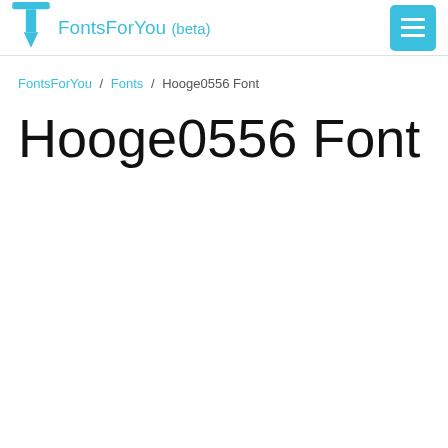FontsForYou (beta)
FontsForYou / Fonts / Hooge0556 Font
Hooge0556 Font